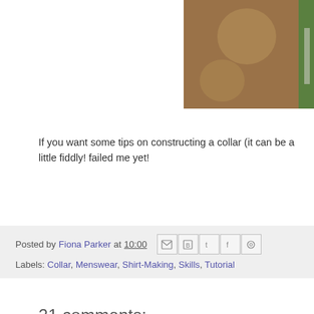[Figure (photo): Close-up photo of fabric with polka dot pattern in brown/tan tones with a green strip on the right edge]
If you want some tips on constructing a collar (it can be a little fiddly! failed me yet!
Posted by Fiona Parker at 10:00
Labels: Collar, Menswear, Shirt-Making, Skills, Tutorial
21 comments:
AlmondRock  21 December 2014 at 19:34
Yippee! Thank you so much for posting this. I'm tackling stays tom
Reply
Replies
Fiona Parker  4 January 2015 at 18:59